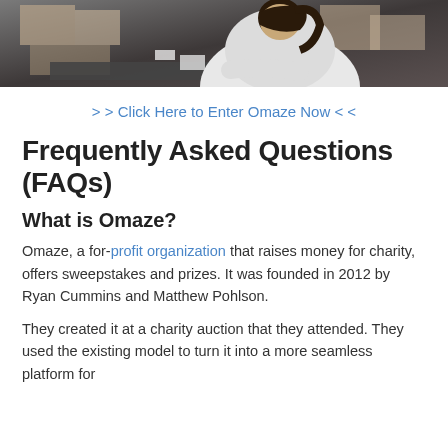[Figure (photo): A person wearing a white sweatshirt working at a table with cardboard boxes and items around them, photographed from behind/side.]
> > Click Here to Enter Omaze Now < <
Frequently Asked Questions (FAQs)
What is Omaze?
Omaze, a for-profit organization that raises money for charity, offers sweepstakes and prizes. It was founded in 2012 by Ryan Cummins and Matthew Pohlson.
They created it at a charity auction that they attended. They used the existing model to turn it into a more seamless platform for charity. The intention is to use a more accessible donation method.